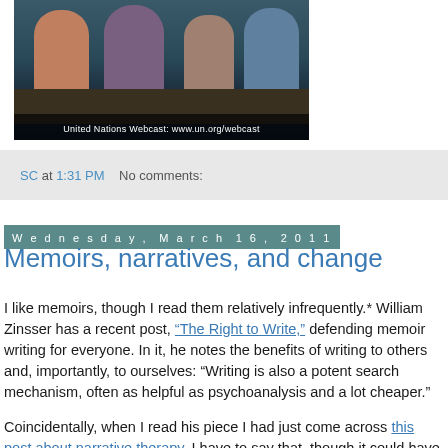[Figure (screenshot): Video screenshot from United Nations Webcast showing people seated at a table, with overlay text: United Nations Webcast: www.un.org/webcast]
SC at 1:31 PM   No comments:
Wednesday, March 16, 2011
Memoirs, narratives, and change
I like memoirs, though I read them relatively infrequently.* William Zinsser has a recent post, “The Right to Write,” defending memoir writing for everyone. In it, he notes the benefits of writing to others and, importantly, to ourselves: “Writing is also a potent search mechanism, often as helpful as psychoanalysis and a lot cheaper.”
Coincidentally, when I read his piece I had just come across this post about narrative therapy. I have to say that, though it could have its dangers, there’s something very appealing to